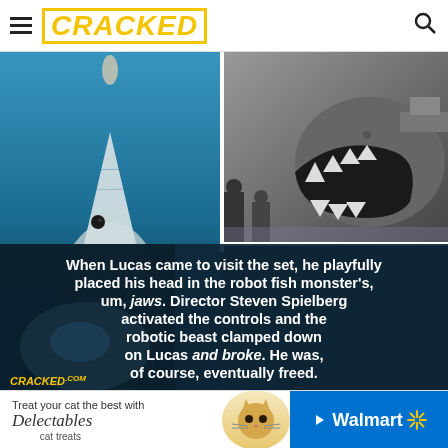CRACKED
[Figure (photo): Composite image: left panel shows Jaws movie poster with great white shark underwater; right top panel shows black-and-white behind-the-scenes photo of the mechanical shark prop with crew on set; bottom panel shows dark underwater scene with text overlay reading: When Lucas came to visit the set, he playfully placed his head in the robot fish monster's, um, jaws. Director Steven Spielberg activated the controls and the robotic beast clamped down on Lucas and broke. He was, of course, eventually freed. CRACKED.COM watermark bottom left.]
[Figure (photo): Walmart ad banner: Treat your cat the best with Delectables cat treats, with cat image and Walmart logo]